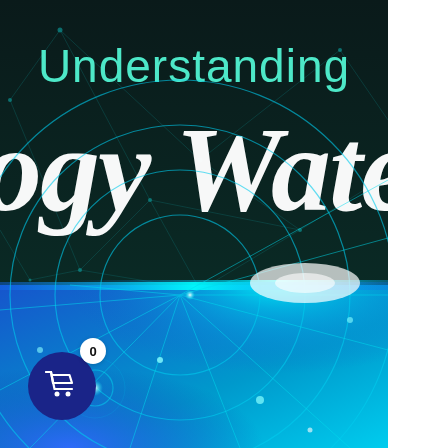[Figure (illustration): Book cover showing 'Understanding [Energy] Water' title text. Top half has dark teal/black background with network node graphics and the word 'Understanding' in teal sans-serif and 'ogy Wate' (partial, cropped) in large white italic script. Bottom half transitions to bright blue/cyan radiant circular lines and glowing light effects on a blue background.]
[Figure (other): Shopping cart icon button. Dark navy/blue circle with white shopping cart icon. A smaller white circle badge showing '0' overlaps the top-right.]